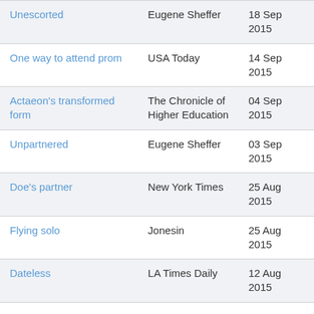| Unescorted | Eugene Sheffer | 18 Sep 2015 |
| One way to attend prom | USA Today | 14 Sep 2015 |
| Actaeon's transformed form | The Chronicle of Higher Education | 04 Sep 2015 |
| Unpartnered | Eugene Sheffer | 03 Sep 2015 |
| Doe's partner | New York Times | 25 Aug 2015 |
| Flying solo | Jonesin | 25 Aug 2015 |
| Dateless | LA Times Daily | 12 Aug 2015 |